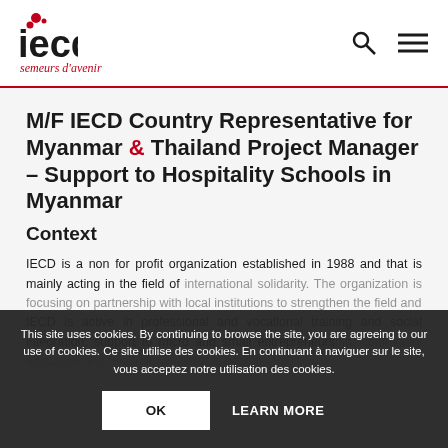iecd semeurs d'avenir
M/F IECD Country Representative for Myanmar & Thailand Project Manager – Support to Hospitality Schools in Myanmar
Context
IECD is a non for profit organization established in 1988 and that is mainly acting in the field of international solidarity. The organization is focusing on partnership with local institutions to strengthen the field... IECD is active in professional and vocational training and social integration, support to micro and small entrepreneurship, community education and health for vulnerable people.
This site uses cookies. By continuing to browse the site, you are agreeing to our use of cookies. Ce site utilise des cookies. En continuant à naviguer sur le site, vous acceptez notre utilisation des cookies.